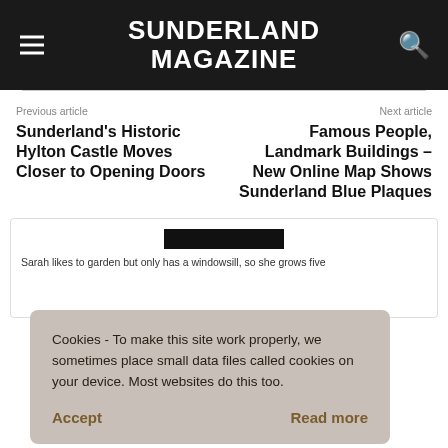SUNDERLAND MAGAZINE
Previous article
Next article
Sunderland's Historic Hylton Castle Moves Closer to Opening Doors
Famous People, Landmark Buildings – New Online Map Shows Sunderland Blue Plaques
Sarah likes to garden but only has a windowsill, so she grows five
Cookies - To make this site work properly, we sometimes place small data files called cookies on your device. Most websites do this too.